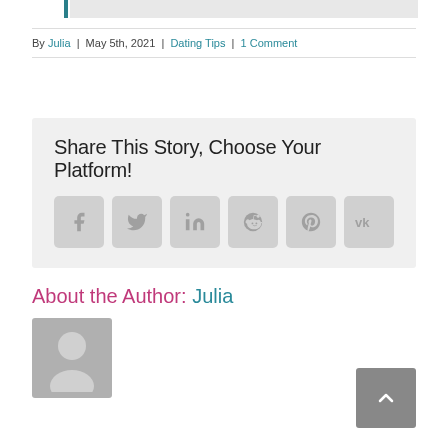By Julia | May 5th, 2021 | Dating Tips | 1 Comment
Share This Story, Choose Your Platform!
[Figure (infographic): Social share buttons: Facebook, Twitter, LinkedIn, Reddit, Pinterest, VK]
About the Author: Julia
[Figure (photo): Default author avatar placeholder image (grey silhouette)]